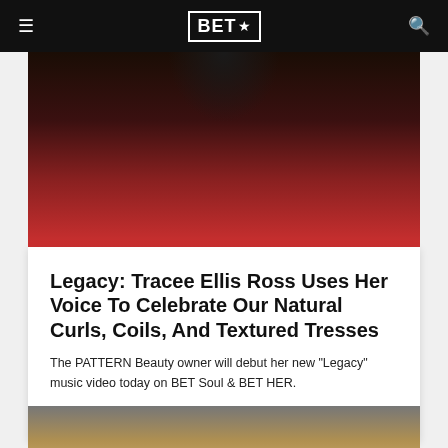BET★
[Figure (photo): Photo of Tracee Ellis Ross wearing a red jacket with curly afro hair and sunglasses]
Legacy: Tracee Ellis Ross Uses Her Voice To Celebrate Our Natural Curls, Coils, And Textured Tresses
The PATTERN Beauty owner will debut her new "Legacy" music video today on BET Soul & BET HER.
02/18/2022
[Figure (photo): Photo of people at an event with warm golden background lighting]